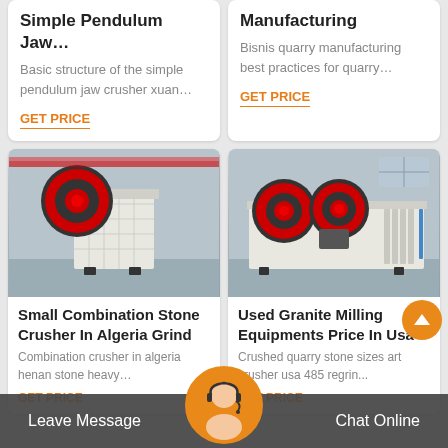Simple Pendulum Jaw...
Basic structure of the simple pendulum jaw crusher xuan…
GET PRICE
Manufacturing
Bisnis quarry manufacturing best practices for quarry…
GET PRICE
[Figure (photo): Small combination stone crusher machine in industrial setting, white/cream colored with red and black flywheel]
Small Combination Stone Crusher In Algeria Grind
Combination crusher in algeria henan stone heavy…
GET PRICE
[Figure (photo): Used granite milling equipment, jaw crusher machine with dual red and black flywheels in factory]
Used Granite Milling Equipments Price In Usa
Crushed quarry stone sizes art crusher usa 485 regrin...
GET PRICE
Leave Message   Chat Online